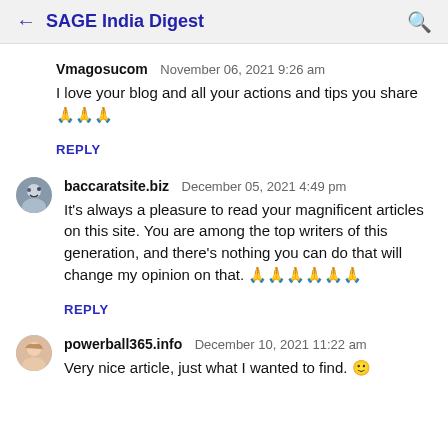SAGE India Digest
Vmagosucom   November 06, 2021 9:26 am
I love your blog and all your actions and tips you share 🙏🙏🙏
REPLY
baccaratsite.biz   December 05, 2021 4:49 pm
It's always a pleasure to read your magnificent articles on this site. You are among the top writers of this generation, and there's nothing you can do that will change my opinion on that. 🙏🙏🙏🙏🙏🙏
REPLY
powerball365.info   December 10, 2021 11:22 am
Very nice article, just what I wanted to find. 🙂